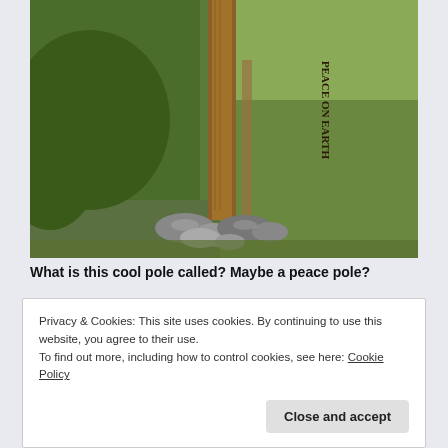[Figure (photo): Photograph of a wooden peace pole with text carved vertically reading 'PEACE ON EARTH', surrounded by rocks at its base, set in a grassy outdoor area with green vegetation in the background.]
What is this cool pole called? Maybe a peace pole?
Privacy & Cookies: This site uses cookies. By continuing to use this website, you agree to their use.
To find out more, including how to control cookies, see here: Cookie Policy
Close and accept